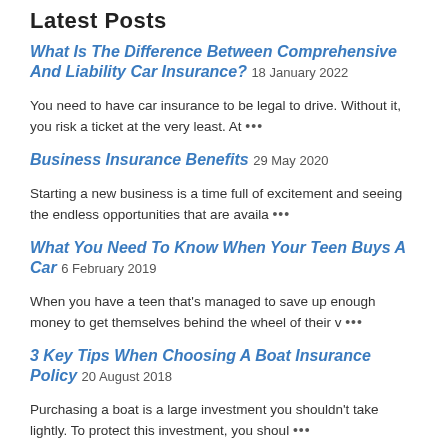Latest Posts
What Is The Difference Between Comprehensive And Liability Car Insurance? 18 January 2022
You need to have car insurance to be legal to drive. Without it, you risk a ticket at the very least. At …
Business Insurance Benefits 29 May 2020
Starting a new business is a time full of excitement and seeing the endless opportunities that are availa …
What You Need To Know When Your Teen Buys A Car 6 February 2019
When you have a teen that's managed to save up enough money to get themselves behind the wheel of their v …
3 Key Tips When Choosing A Boat Insurance Policy 20 August 2018
Purchasing a boat is a large investment you shouldn't take lightly. To protect this investment, you shoul …
Additional Car Insurance Options When You Are Driving a